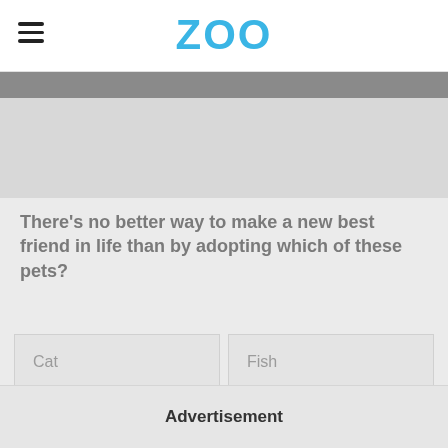ZOO
There's no better way to make a new best friend in life than by adopting which of these pets?
Cat
Fish
Snake
Dog
Advertisement